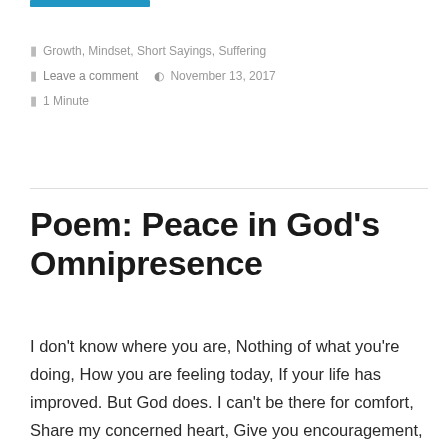Growth, Mindset, Short Sayings, Suffering
Leave a comment   November 13, 2017
1 Minute
Poem: Peace in God's Omnipresence
I don't know where you are, Nothing of what you're doing, How you are feeling today, If your life has improved. But God does. I can't be there for comfort, Share my concerned heart, Give you encouragement, The care that you deserve. But God can. So I pray for